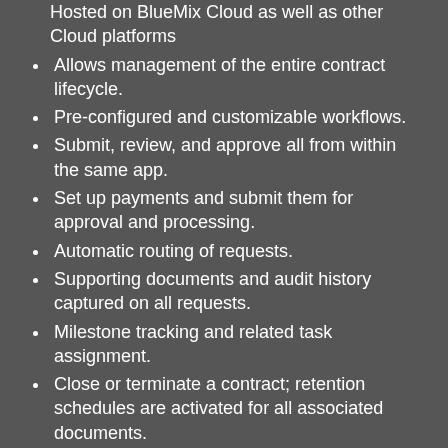Hosted on BlueMix Cloud as well as other Cloud platforms
Allows management of the entire contract lifecycle.
Pre-configured and customizable workflows.
Submit, review, and approve all from within the same app.
Set up payments and submit them for approval and processing.
Automatic routing of requests.
Supporting documents and audit history captured on all requests.
Milestone tracking and related task assignment.
Close or terminate a contract; retention schedules are activated for all associated documents.
Secure local and web access.
For more information on Contract Manager, contact your Softech sales rep
IF YOU WOULD LIKE US TO CONTACT YOU, PLEASE FILL OUT THE FORM BELOW: